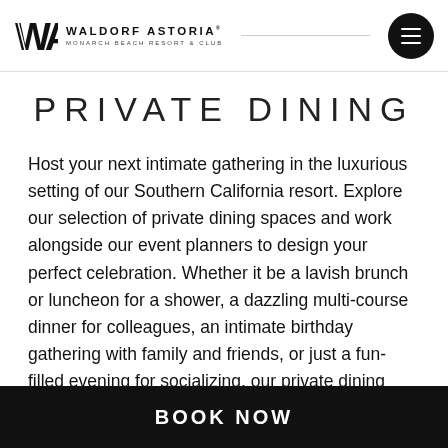[Figure (logo): Waldorf Astoria Monarch Beach Resort & Club logo with WA monogram and hamburger menu button]
PRIVATE DINING
Host your next intimate gathering in the luxurious setting of our Southern California resort. Explore our selection of private dining spaces and work alongside our event planners to design your perfect celebration. Whether it be a lavish brunch or luncheon for a shower, a dazzling multi-course dinner for colleagues, an intimate birthday gathering with family and friends, or just a fun-filled evening for socializing, our private dining options are sure to delight with elegant catering and exceptional service from our
BOOK NOW